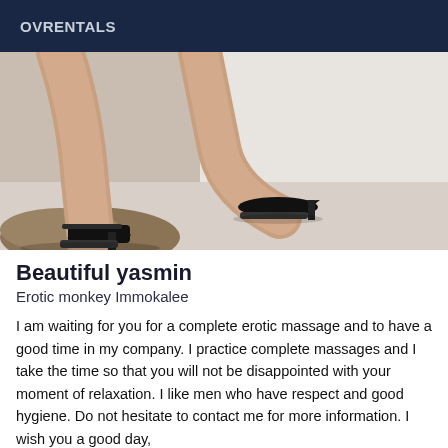OVRENTALS
[Figure (photo): Close-up photo of a woman's legs wearing black high heel shoes, posed near a white surface with a textured object in the lower left.]
Beautiful yasmin
Erotic monkey Immokalee
I am waiting for you for a complete erotic massage and to have a good time in my company. I practice complete massages and I take the time so that you will not be disappointed with your moment of relaxation. I like men who have respect and good hygiene. Do not hesitate to contact me for more information. I wish you a good day,